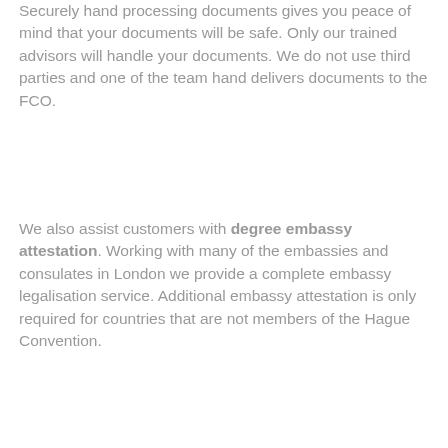Securely hand processing documents gives you peace of mind that your documents will be safe. Only our trained advisors will handle your documents. We do not use third parties and one of the team hand delivers documents to the FCO.
We also assist customers with degree embassy attestation. Working with many of the embassies and consulates in London we provide a complete embassy legalisation service. Additional embassy attestation is only required for countries that are not members of the Hague Convention.
Only official UK qualifications from recognised UK universities or colleges can be legalised with the UK apostille. It is not possible to legalise degree certificates from non-UK universities or ‘online’ services that sell qualifications. If your qualifications are from a genuine overseas university then you need to have them processed in the country where they were issued.
For assistance in legalising your degree certificate or other university document do not hesitate to